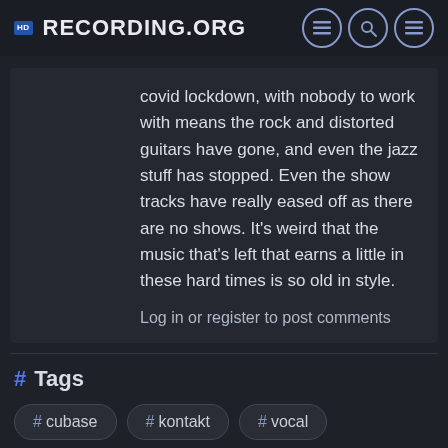Recording.org
covid lockdown, with nobody to work with means the rock and distorted guitars have gone, and even the jazz stuff has stopped. Even the show tracks have really eased off as there are no shows. It’s weird that the music that’s left that earns a little in these hard times is so old in style.
Log in or register to post comments
# Tags
# cubase
# kontakt
# vocal